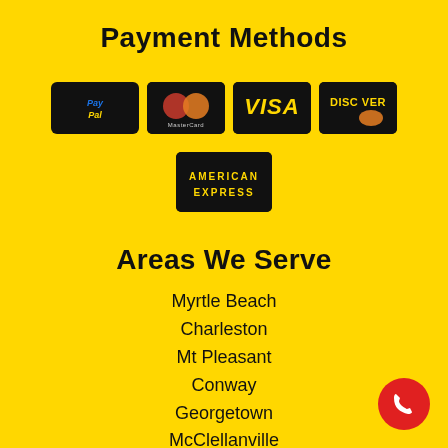Payment Methods
[Figure (logo): Payment method logos: PayPal, MasterCard, VISA, Discover, American Express — black rounded rectangle cards on yellow background]
Areas We Serve
Myrtle Beach
Charleston
Mt Pleasant
Conway
Georgetown
McClellanville
Florence
[Figure (logo): Red circular phone/call button in bottom right corner]